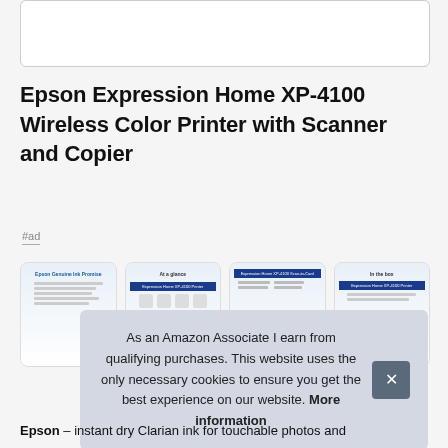[Figure (other): White rectangular image placeholder box with border at top of page]
Epson Expression Home XP-4100 Wireless Color Printer with Scanner and Copier
#ad
[Figure (other): Row of four product document thumbnail images showing Epson Genuine Ink Promise, At a glance, Scan-to-Card feature, and In the box pages]
As an Amazon Associate I earn from qualifying purchases. This website uses the only necessary cookies to ensure you get the best experience on our website. More information
Epson – instant dry Clarian ink for touchable photos and